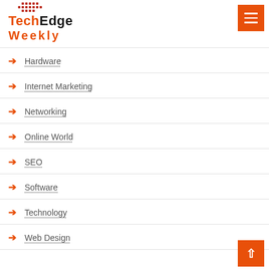TechEdge Weekly
Hardware
Internet Marketing
Networking
Online World
SEO
Software
Technology
Web Design